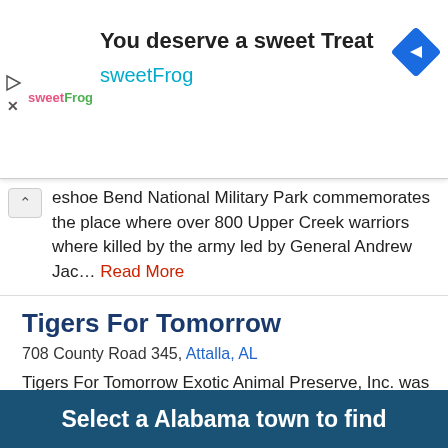[Figure (screenshot): Advertisement banner for sweetFrog with logo, headline 'You deserve a sweet Treat', brand name 'sweetFrog', navigation icon, play and close icons]
...eshoe Bend National Military Park commemorates the place where over 800 Upper Creek warriors where killed by the army led by General Andrew Jac... Read More
Tigers For Tomorrow
708 County Road 345, Attalla, AL
Tigers For Tomorrow Exotic Animal Preserve, Inc. was founded in July of 1999, for the sole purpose of creating a safe haven for exotic anima... Read More
Select a Alabama town to find